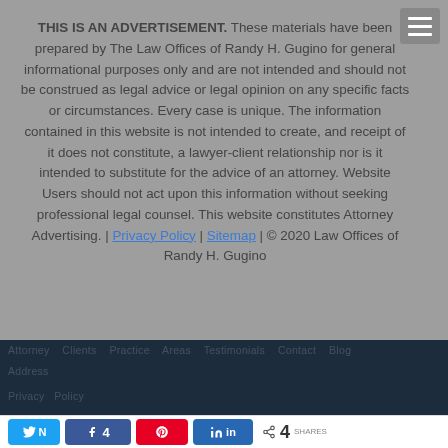THIS IS AN ADVERTISEMENT. These materials have been prepared by The Law Offices of Randy H. Gugino for general informational purposes only and are not intended and should not be construed as legal advice or legal opinion on any specific facts or circumstances. Every case is unique. The information contained in this website is not intended to create, and receipt of it does not constitute, a lawyer-client relationship nor is it intended to substitute for the advice of an attorney. Website Users should not act upon this information without seeking professional legal counsel. This website constitutes Attorney Advertising. | Privacy Policy | Sitemap | © 2020 Law Offices of Randy H. Gugino
Share buttons: Twitter, Facebook (4), Pinterest, LinkedIn | 4 SHARES